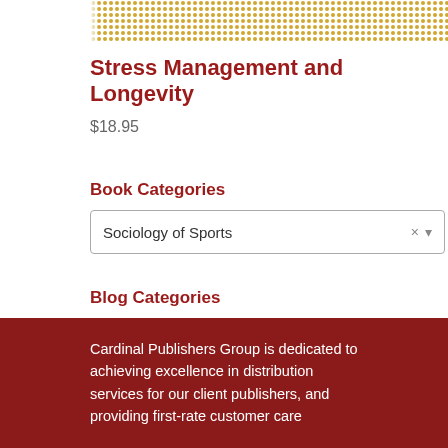[Figure (illustration): Decorative dot-pattern image strip in gold/yellow tones at top of page]
Stress Management and Longevity
$18.95
Book Categories
Sociology of Sports
Blog Categories
Select Category
Cardinal Publishers Group is dedicated to achieving excellence in distribution services for our client publishers, and providing first-rate customer care